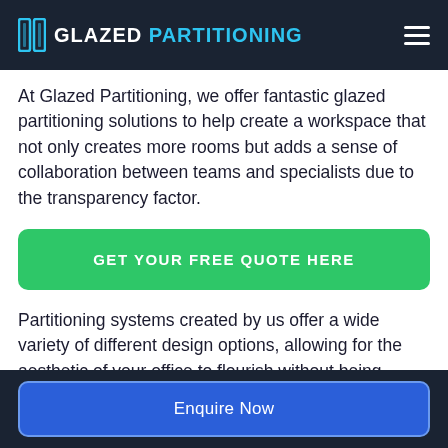GLAZED PARTITIONING
At Glazed Partitioning, we offer fantastic glazed partitioning solutions to help create a workspace that not only creates more rooms but adds a sense of collaboration between teams and specialists due to the transparency factor.
GET YOUR FREE QUOTE HERE
Partitioning systems created by us offer a wide variety of different design options, allowing for the aesthetic of your office to flourish without being compromised.
Enquire Now